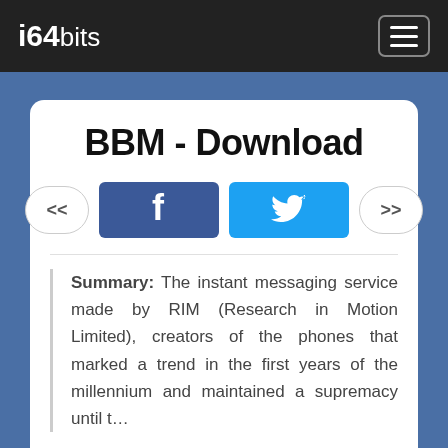i64bits
BBM - Download
Summary: The instant messaging service made by RIM (Research in Motion Limited), creators of the phones that marked a trend in the first years of the millennium and maintained a supremacy until t…